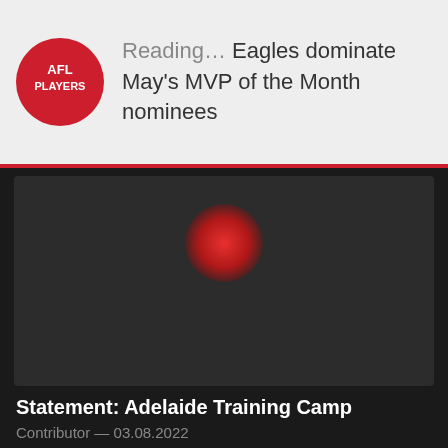Reading… Eagles dominate May's MVP of the Month nominees
[Figure (photo): Dark article thumbnail image with a red circular glow/logo in the upper center area]
Statement: Adelaide Training Camp
Contributor — 03.08.2022
[Figure (photo): Partially visible blurred photo of a person, tagged with FANS and PLAYERS category labels]